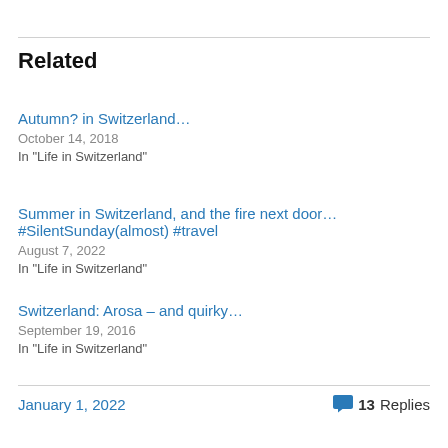Related
Autumn? in Switzerland…
October 14, 2018
In "Life in Switzerland"
Summer in Switzerland, and the fire next door… #SilentSunday(almost) #travel
August 7, 2022
In "Life in Switzerland"
Switzerland: Arosa – and quirky…
September 19, 2016
In "Life in Switzerland"
January 1, 2022    💬 13 Replies